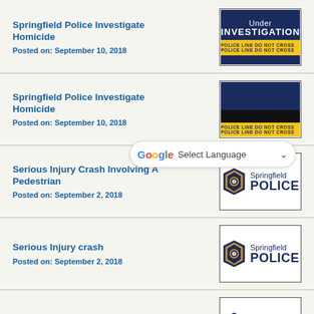Springfield Police Investigate Homicide
Posted on: September 10, 2018
[Figure (photo): Under Investigation badge with police line tape]
Springfield Police Investigate Homicide
Posted on: September 10, 2018
[Figure (screenshot): Partial Under Investigation image with Google Translate Select Language overlay]
Serious Injury Crash Involving A Pedestrian
Posted on: September 2, 2018
[Figure (logo): Springfield Police badge logo]
Serious Injury crash
Posted on: September 2, 2018
[Figure (logo): Springfield Police badge logo]
Fatality crash
Posted on: September 1, 2018
[Figure (logo): Springfield Police badge logo]